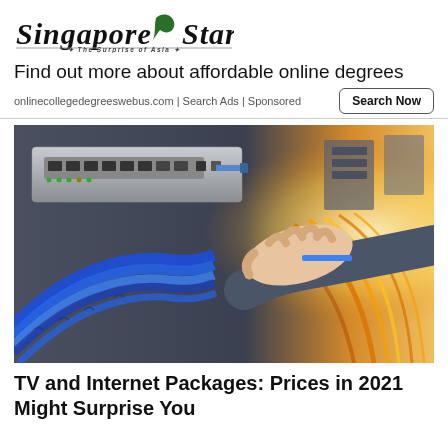[Figure (logo): Singapore Star newspaper logo with leaf icon and tagline 'The Surprise of Asia']
Find out more about affordable online degrees
onlinecollegedegreeswebus.com | Search Ads | Sponsored
[Figure (photo): A hand plugging ethernet cables into a network switch, with blue and gold fiber/ethernet cables bundled together, warm backlit background]
TV and Internet Packages: Prices in 2021 Might Surprise You